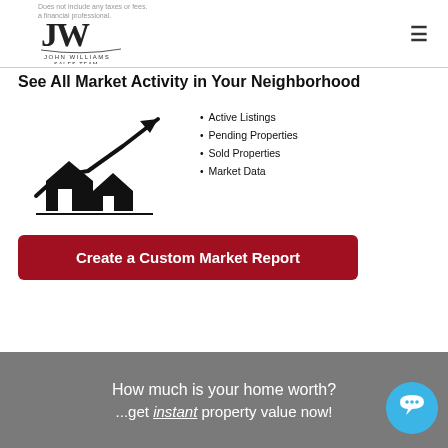Does not include any taxes or fees. a financial professional.
[Figure (logo): John Williams Sales Team JW logo]
See All Market Activity in Your Neighborhood
[Figure (illustration): Two house silhouettes with an upward trending arrow chart overlay, all in black]
Active Listings
Pending Properties
Sold Properties
Market Data
Create a Custom Market Report
How much is your home worth? ...get instant property value now!